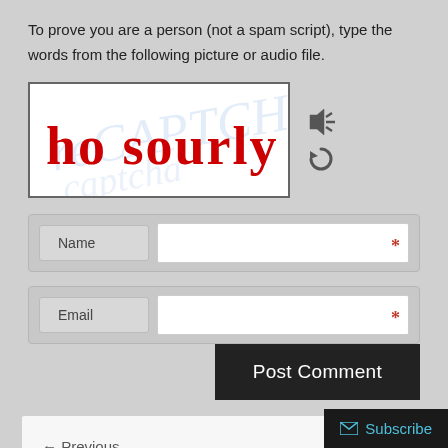To prove you are a person (not a spam script), type the words from the following picture or audio file.
[Figure (screenshot): CAPTCHA image showing handwritten red text 'ho sourly' on white background with blue watermark, with audio and refresh icons to the right]
[Figure (screenshot): Name form field with red asterisk required marker]
[Figure (screenshot): Email form field with red asterisk required marker]
[Figure (screenshot): Post Comment dark button]
← Previous
#TFotoFri Teacher Flickr Friday Photo Group: You're Invited!